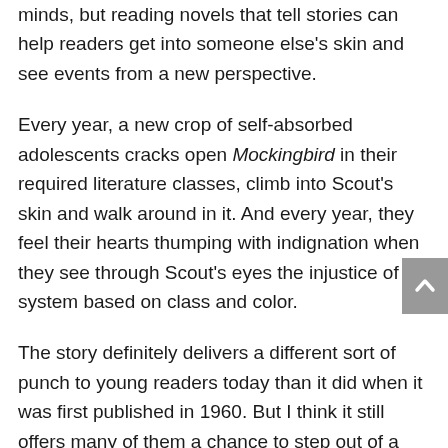minds, but reading novels that tell stories can help readers get into someone else's skin and see events from a new perspective.
Every year, a new crop of self-absorbed adolescents cracks open Mockingbird in their required literature classes, climb into Scout's skin and walk around in it. And every year, they feel their hearts thumping with indignation when they see through Scout's eyes the injustice of a system based on class and color.
The story definitely delivers a different sort of punch to young readers today than it did when it was first published in 1960. But I think it still offers many of them a chance to step out of a world that seems so safe and comfortable into one where injustice is a reality and danger can crop up in the most unexpected places.